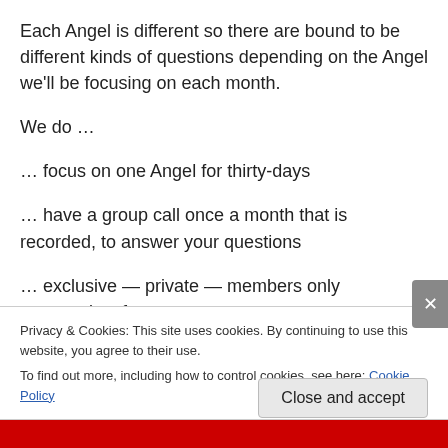Each Angel is different so there are bound to be different kinds of questions depending on the Angel we'll be focusing on each month.
We do …
… focus on one Angel for thirty-days
… have a group call once a month that is recorded, to answer your questions
… exclusive — private — members only community of
Privacy & Cookies: This site uses cookies. By continuing to use this website, you agree to their use.
To find out more, including how to control cookies, see here: Cookie Policy
Close and accept